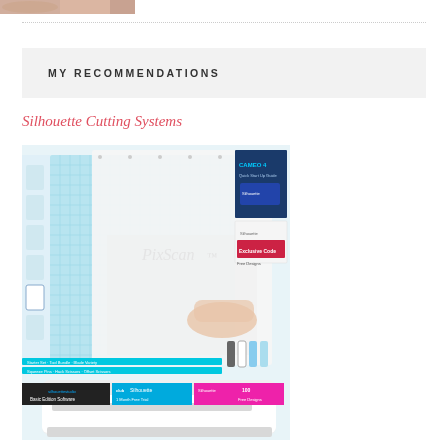[Figure (photo): Partial photo of a person or craft item at top left corner]
MY RECOMMENDATIONS
Silhouette Cutting Systems
[Figure (photo): Product image of Silhouette Cameo 4 cutting machine bundle with PixScan mat, accessories, software box, and promotional materials]